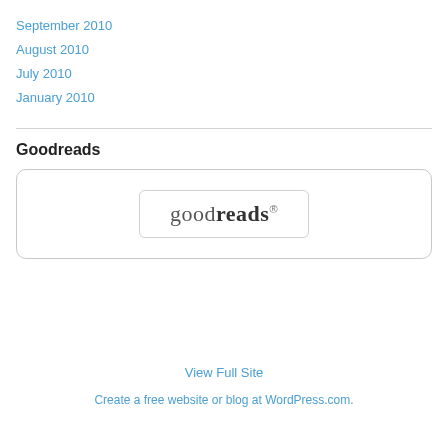September 2010
August 2010
July 2010
January 2010
Goodreads
[Figure (logo): Goodreads logo inside a rounded rectangle widget box]
View Full Site
Create a free website or blog at WordPress.com.